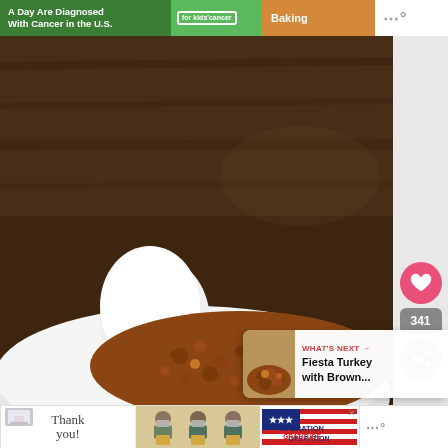[Figure (screenshot): Top banner advertisement with green background showing text 'A Day Are Diagnosed With Cancer in the U.S.' and kids cancer ribbon logo and Baking section, with weather app logo on right]
[Figure (photo): Food photo showing a white bowl with ground meat mixture (picadillo or similar dish) topped with sour cream, on a dark wooden background]
[Figure (infographic): Sidebar with heart/like button in pink, count of 341, and share button in gray]
[Figure (screenshot): What's Next panel showing thumbnail and text 'Fiesta Turkey with Brown...' with arrow]
[Figure (screenshot): Bottom banner advertisement showing 'Thank you!' handwritten text with American flag motif, people with masks holding boxes, Operation Gratitude logo, and weather app logo]